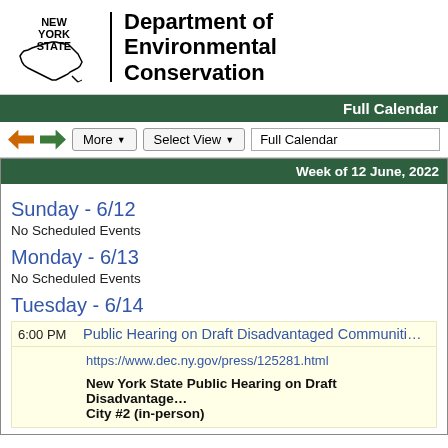[Figure (logo): New York State Department of Environmental Conservation logo with NY state outline and text]
Full Calendar
Week of 12 June, 2022
Sunday - 6/12
No Scheduled Events
Monday - 6/13
No Scheduled Events
Tuesday - 6/14
6:00 PM  Public Hearing on Draft Disadvantaged Communiti…
https://www.dec.ny.gov/press/125281.html
New York State Public Hearing on Draft Disadvantaged… City #2 (in-person)